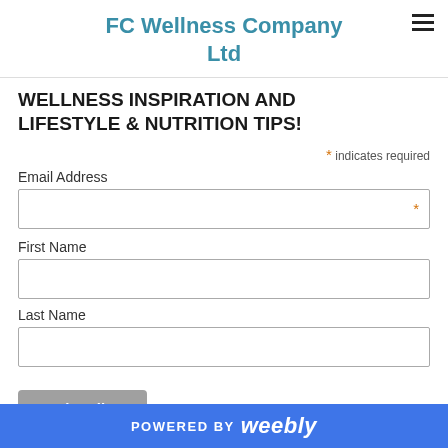FC Wellness Company Ltd
WELLNESS INSPIRATION AND LIFESTYLE & NUTRITION TIPS!
* indicates required
Email Address *
First Name
Last Name
Subscribe
POWERED BY weebly